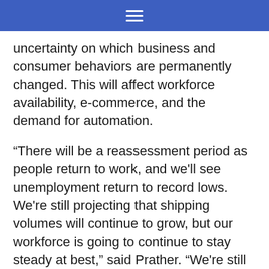≡
uncertainty on which business and consumer behaviors are permanently changed. This will affect workforce availability, e-commerce, and the demand for automation.
“There will be a reassessment period as people return to work, and we'll see unemployment return to record lows. We're still projecting that shipping volumes will continue to grow, but our workforce is going to continue to stay steady at best,” said Prather. “We're still looking at a silvering of the workforce. Just our couriers bringing packages are continuing to get older, and it's a hard sell to get younger folks to take up those jobs.”
“We still have a lot of plans for automating